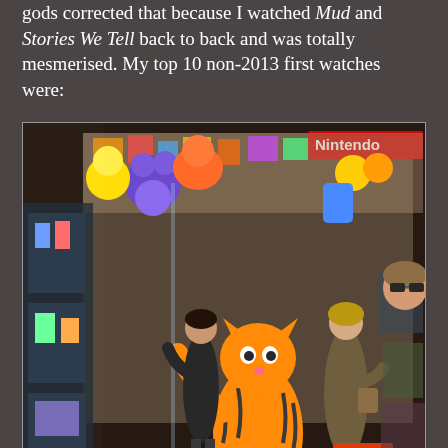gods corrected that because I watched Mud and Stories We Tell back to back and was totally mesmerised. My top 10 non-2013 first watches were:
[Figure (photo): A photo of a toy store window display at night showing large stuffed animals including a Garfield-like orange cat, colorful plush figures, a Nintendo sign visible at top, and a woman in a coat standing outside viewing the display.]
Chungking Express
Brief Encounter
Dev D.
La haine
The American
Leaving Las Vegas
Eyes Without A Face